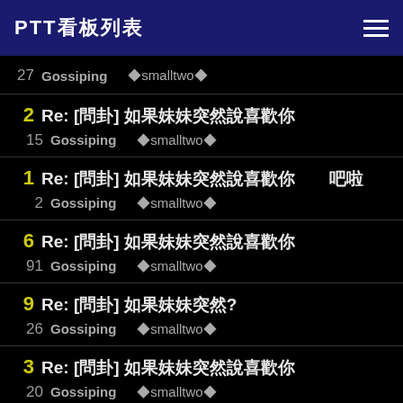PTT看板列表
27  Gossiping  ❰❰smalltwo❱❱
2  Re: [問卦] 如果妹妹突然說喜歡你
15  Gossiping  ❰❰smalltwo❱❱
1  Re: [問卦] 如果妹妹突然說喜歡你
2  Gossiping  ❰❰smalltwo❱❱
6  Re: [問卦] 如果妹妹突然說喜歡你
91  Gossiping  ❰❰smalltwo❱❱
9  Re: [問卦] 如果你有一天?
26  Gossiping  ❰❰smalltwo❱❱
3  Re: [問卦] 如果妹妹突然說喜歡你
20  Gossiping  ❰❰smalltwo❱❱
4  Re: [問卦] 如果你有一天??
5  Gossiping  ❰❰smalltwo❱❱